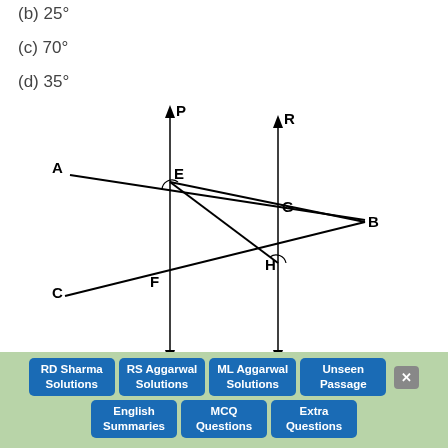(b) 25°
(c) 70°
(d) 35°
[Figure (math-figure): Geometry diagram showing two parallel vertical lines PQ and RS intersecting two transversal lines. Points labeled: P (top of left vertical), Q (bottom of left vertical), R (top of right vertical), S (bottom of right vertical), A (left on upper transversal), E (intersection of upper transversal with left vertical), G (intersection of upper transversal with right vertical), B (rightmost point of upper transversal), C (left on lower transversal), F (intersection of lower transversal with left vertical), H (intersection of lower transversal with right vertical). Small angle marks at E and H.]
Solution: